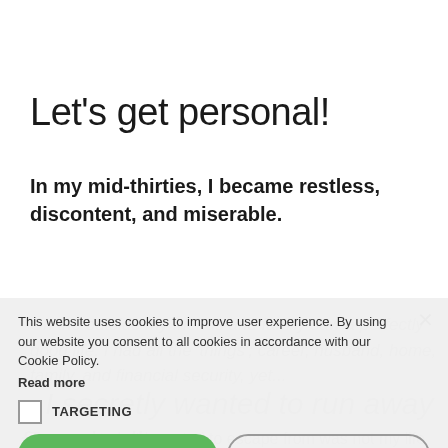Let's get personal!
In my mid-thirties, I became restless, discontent, and miserable.
On the outside my friends and family saw a perfectly good life. I had all the 'things'; career, husband, home, family, and financial security, yet...
...I secretly wanted to run away from it all.
Turns out, what I wanted to escape from was not my life
This website uses cookies to improve user experience. By using our website you consent to all cookies in accordance with our Cookie Policy. Read more
TARGETING
ACCEPT ALL
DECLINE ALL
POWERED BY COOKIESCRIPT